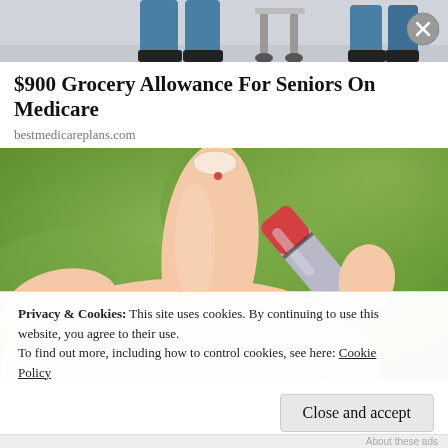[Figure (photo): Top portion of an image showing a person in blue medical scrubs near hospital equipment with wheels, cropped to show lower body only]
$900 Grocery Allowance For Seniors On Medicare
bestmedicareplans.com
[Figure (photo): Close-up photo of a hand with a finger being pricked by a lancet device for blood glucose testing, with green blurred background]
Privacy & Cookies: This site uses cookies. By continuing to use this website, you agree to their use.
To find out more, including how to control cookies, see here: Cookie Policy
Close and accept